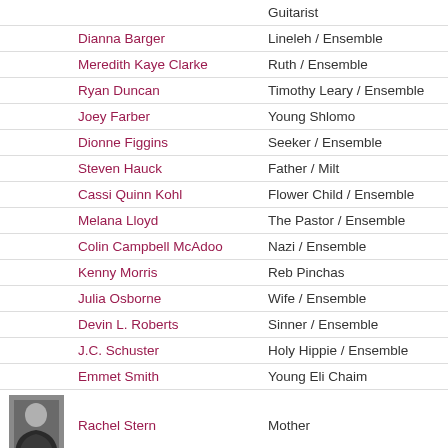|  | Name | Role |
| --- | --- | --- |
|  |  | Guitarist |
|  | Dianna Barger | Lineleh / Ensemble |
|  | Meredith Kaye Clarke | Ruth / Ensemble |
|  | Ryan Duncan | Timothy Leary / Ensemble |
|  | Joey Farber | Young Shlomo |
|  | Dionne Figgins | Seeker / Ensemble |
|  | Steven Hauck | Father / Milt |
|  | Cassi Quinn Kohl | Flower Child / Ensemble |
|  | Melana Lloyd | The Pastor / Ensemble |
|  | Colin Campbell McAdoo | Nazi / Ensemble |
|  | Kenny Morris | Reb Pinchas |
|  | Julia Osborne | Wife / Ensemble |
|  | Devin L. Roberts | Sinner / Ensemble |
|  | J.C. Schuster | Holy Hippie / Ensemble |
|  | Emmet Smith | Young Eli Chaim |
| [photo] | Rachel Stern | Mother |
|  | Ryan Strand | Eli Chaim / Moisheleh |
|  |  | ... |